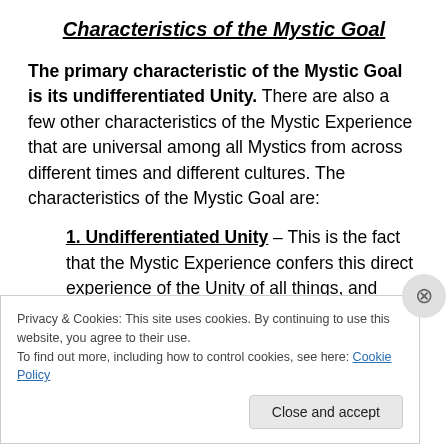Characteristics of the Mystic Goal
The primary characteristic of the Mystic Goal is its undifferentiated Unity. There are also a few other characteristics of the Mystic Experience that are universal among all Mystics from across different times and different cultures. The characteristics of the Mystic Goal are:
1. Undifferentiated Unity – This is the fact that the Mystic Experience confers this direct experience of the Unity of all things, and one's ultimate identity
Privacy & Cookies: This site uses cookies. By continuing to use this website, you agree to their use.
To find out more, including how to control cookies, see here: Cookie Policy